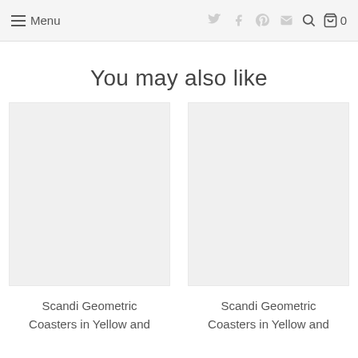Menu | social icons | search | cart 0
You may also like
Scandi Geometric Coasters in Yellow and
Scandi Geometric Coasters in Yellow and